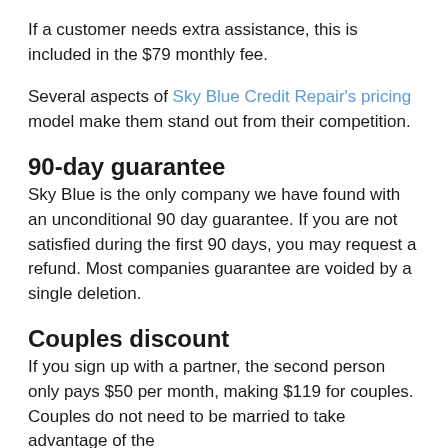If a customer needs extra assistance, this is included in the $79 monthly fee.
Several aspects of Sky Blue Credit Repair's pricing model make them stand out from their competition.
90-day guarantee
Sky Blue is the only company we have found with an unconditional 90 day guarantee. If you are not satisfied during the first 90 days, you may request a refund. Most companies guarantee are voided by a single deletion.
Couples discount
If you sign up with a partner, the second person only pays $50 per month, making $119 for couples. Couples do not need to be married to take advantage of the